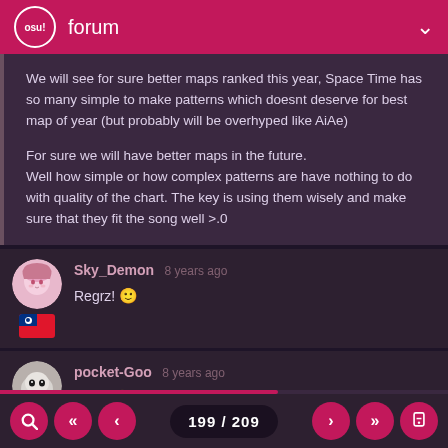osu! forum
We will see for sure better maps ranked this year, Space Time has so many simple to make patterns which doesnt deserve for best map of year (but probably will be overhyped like AiAe)

For sure we will have better maps in the future.
Well how simple or how complex patterns are have nothing to do with quality of the chart. The key is using them wisely and make sure that they fit the song well >.0
Sky_Demon 8 years ago
Regrz! 🙂
pocket-Goo 8 years ago
boom 🙂
199 / 209